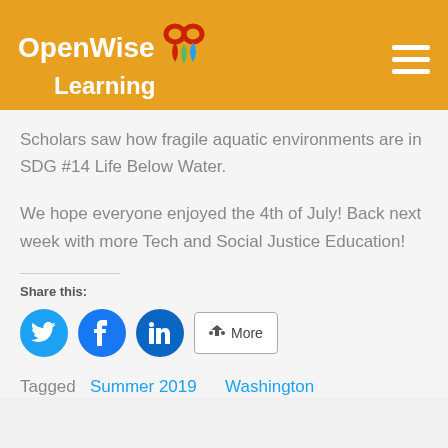[Figure (logo): OpenWise Learning logo with decorative icon on orange/amber header background]
Scholars saw how fragile aquatic environments are in SDG #14 Life Below Water.
We hope everyone enjoyed the 4th of July! Back next week with more Tech and Social Justice Education!
Share this:
[Figure (infographic): Social share buttons: Twitter (blue circle with bird icon), Facebook (blue circle with f icon), LinkedIn (blue circle with in icon), and a More button with share icon]
Tagged  Summer 2019     Washington